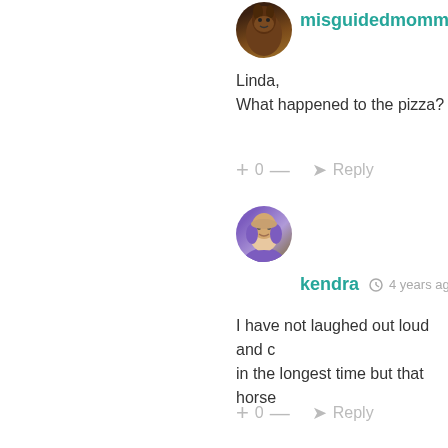[Figure (photo): Circular avatar of misguidedmommy showing a horse]
misguidedmommy   4 years ago
Linda,
What happened to the pizza?
+ 0 —  Reply
[Figure (photo): Circular avatar of kendra showing an older woman in purple]
kendra   4 years ago
I have not laughed out loud and c in the longest time but that horse
+ 0 —  Reply